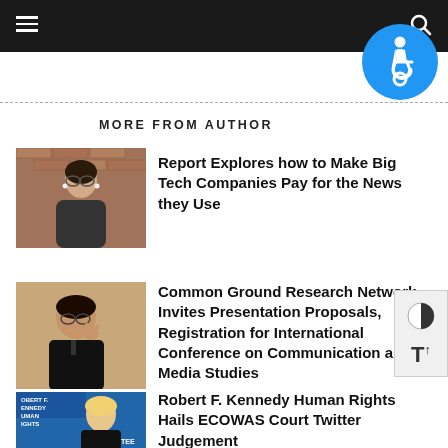Navigation bar with hamburger menu and search icon
[Figure (illustration): Blue circular accessibility icon with wheelchair symbol, positioned top-right overlapping nav bar and content]
[Figure (illustration): Contrast toggle and font size increase panel on the right side]
MORE FROM AUTHOR
[Figure (photo): Portrait photo of a woman with glasses and dark hair against a brick wall background]
Report Explores how to Make Big Tech Companies Pay for the News they Use
[Figure (photo): Photo of a man in dark clothing gesturing with his hand near his face]
Common Ground Research Network Invites Presentation Proposals, Registration for International Conference on Communication and Media Studies
[Figure (photo): Photo of a blonde woman in front of a Robert F. Kennedy Human Rights banner]
Robert F. Kennedy Human Rights Hails ECOWAS Court Twitter Judgement